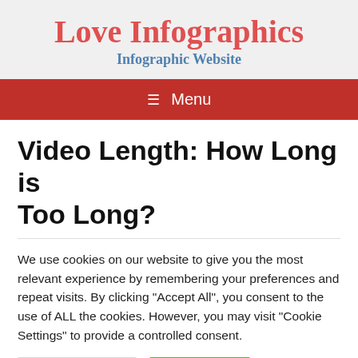Love Infographics
Infographic Website
≡ Menu
Video Length: How Long is Too Long?
We use cookies on our website to give you the most relevant experience by remembering your preferences and repeat visits. By clicking "Accept All", you consent to the use of ALL the cookies. However, you may visit "Cookie Settings" to provide a controlled consent.
Cookie Settings   Accept All